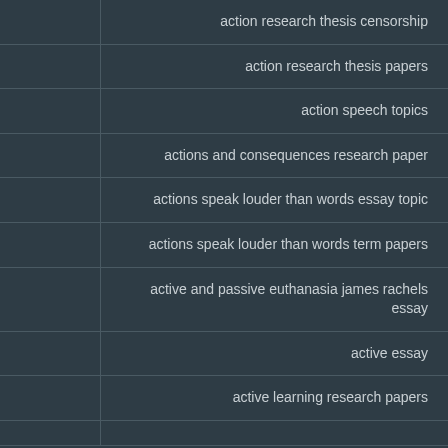| action research thesis censorship |
| action research thesis papers |
| action speech topics |
| actions and consequences research paper |
| actions speak louder than words essay topic |
| actions speak louder than words term papers |
| active and passive euthanasia james rachels essay |
| active essay |
| active learning research papers |